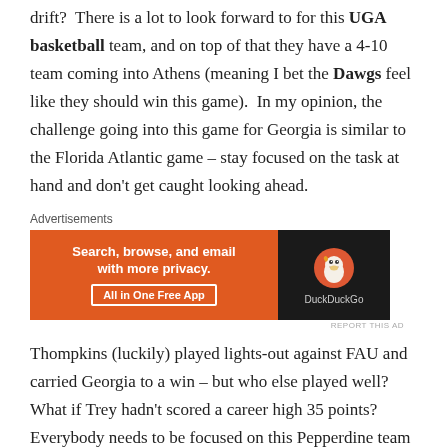drift?  There is a lot to look forward to for this UGA basketball team, and on top of that they have a 4-10 team coming into Athens (meaning I bet the Dawgs feel like they should win this game).  In my opinion, the challenge going into this game for Georgia is similar to the Florida Atlantic game – stay focused on the task at hand and don't get caught looking ahead.
[Figure (other): DuckDuckGo advertisement banner: 'Search, browse, and email with more privacy. All in One Free App' on orange background with DuckDuckGo logo on dark background.]
Thompkins (luckily) played lights-out against FAU and carried Georgia to a win – but who else played well? What if Trey hadn't scored a career high 35 points? Everybody needs to be focused on this Pepperdine team and finishing out 2009 strong.